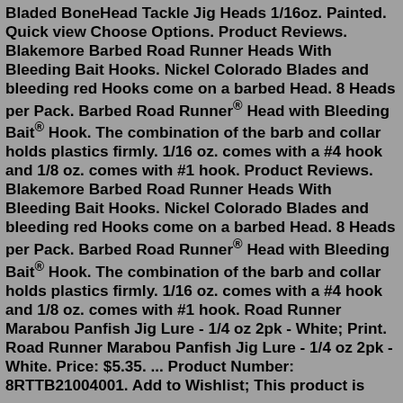Bladed BoneHead Tackle Jig Heads 1/16oz. Painted. Quick view Choose Options. Product Reviews. Blakemore Barbed Road Runner Heads With Bleeding Bait Hooks. Nickel Colorado Blades and bleeding red Hooks come on a barbed Head. 8 Heads per Pack. Barbed Road Runner® Head with Bleeding Bait® Hook. The combination of the barb and collar holds plastics firmly. 1/16 oz. comes with a #4 hook and 1/8 oz. comes with #1 hook. Product Reviews. Blakemore Barbed Road Runner Heads With Bleeding Bait Hooks. Nickel Colorado Blades and bleeding red Hooks come on a barbed Head. 8 Heads per Pack. Barbed Road Runner® Head with Bleeding Bait® Hook. The combination of the barb and collar holds plastics firmly. 1/16 oz. comes with a #4 hook and 1/8 oz. comes with #1 hook. Road Runner Marabou Panfish Jig Lure - 1/4 oz 2pk - White; Print. Road Runner Marabou Panfish Jig Lure - 1/4 oz 2pk - White. Price: $5.35. ... Product Number: 8RTTB21004001. Add to Wishlist; This product is